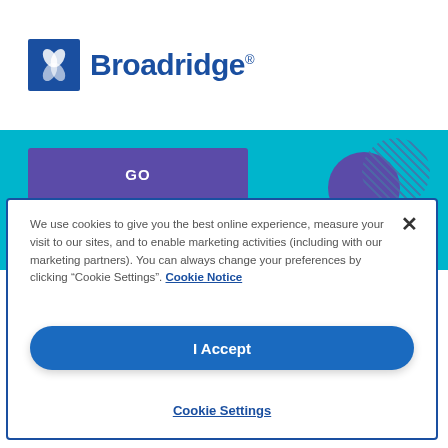[Figure (logo): Broadridge logo with blue leaf/wing icon and dark blue wordmark 'Broadridge']
[Figure (screenshot): Teal banner section with purple 'GO' button and decorative purple circle and hatched ring on the right]
We use cookies to give you the best online experience, measure your visit to our sites, and to enable marketing activities (including with our marketing partners). You can always change your preferences by clicking “Cookie Settings”. Cookie Notice
I Accept
Cookie Settings